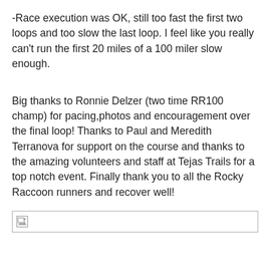-Race execution was OK, still too fast the first two loops and too slow the last loop. I feel like you really can't run the first 20 miles of a 100 miler slow enough.
Big thanks to Ronnie Delzer (two time RR100 champ) for pacing,photos and encouragement over the final loop! Thanks to Paul and Meredith Terranova for support on the course and thanks to the amazing volunteers and staff at Tejas Trails for a top notch event. Finally thank you to all the Rocky Raccoon runners and recover well!
[Figure (photo): Broken image placeholder — a small image icon with border indicating a missing/unloaded image.]